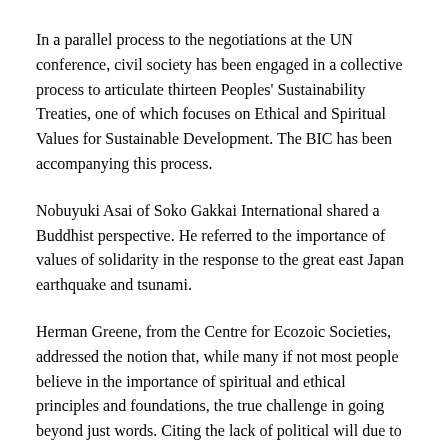In a parallel process to the negotiations at the UN conference, civil society has been engaged in a collective process to articulate thirteen Peoples' Sustainability Treaties, one of which focuses on Ethical and Spiritual Values for Sustainable Development. The BIC has been accompanying this process.
Nobuyuki Asai of Soko Gakkai International shared a Buddhist perspective. He referred to the importance of values of solidarity in the response to the great east Japan earthquake and tsunami.
Herman Greene, from the Centre for Ecozoic Societies, addressed the notion that, while many if not most people believe in the importance of spiritual and ethical principles and foundations, the true challenge in going beyond just words. Citing the lack of political will due to short-term horizons, Greene mentioned that the current situation we are all experiencing is like “fluid in a bottle passing through the bottleneck” suggesting that we are almost through and are “entering into something new.” The role of faith and value based organizations is to participate actively in this time of renewal, to re-invent and to transform what we have, calling for transformative leadership by all